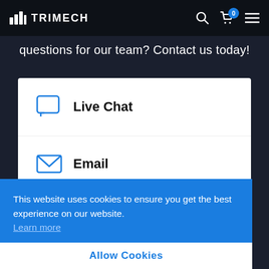TRIMECH
questions for our team? Contact us today!
Live Chat
Email
This website uses cookies to ensure you get the best experience on our website. Learn more
Allow Cookies